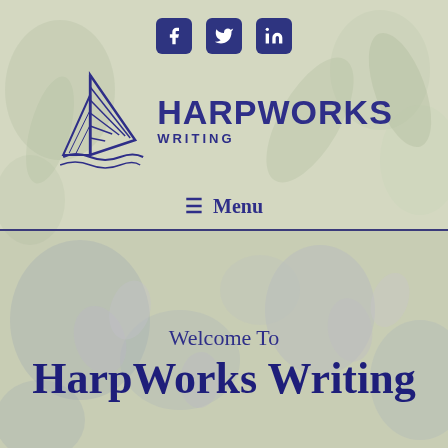[Figure (logo): HarpWorks Writing logo with harp/sail icon and text]
≡ Menu
Welcome To
HarpWorks Writing